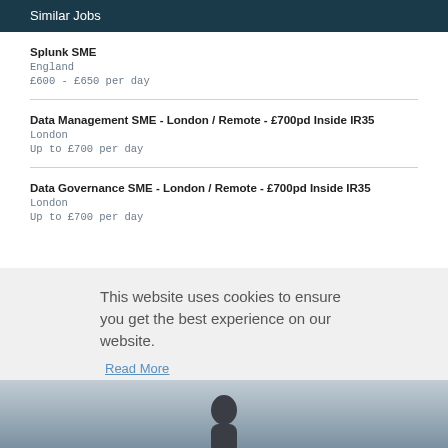Similar Jobs
Splunk SME
England
£600 - £650 per day
Data Management SME - London / Remote - £700pd Inside IR35
London
Up to £700 per day
Data Governance SME - London / Remote - £700pd Inside IR35
London
Up to £700 per day
This website uses cookies to ensure you get the best experience on our website.
Read More
Got it!
[Figure (photo): A photograph strip at the bottom of the page showing a person silhouette against a blurred background]